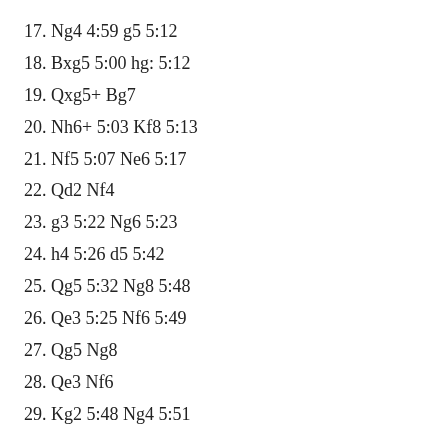17. Ng4 4:59 g5 5:12
18. Bxg5 5:00 hg: 5:12
19. Qxg5+ Bg7
20. Nh6+ 5:03 Kf8 5:13
21. Nf5 5:07 Ne6 5:17
22. Qd2 Nf4
23. g3 5:22 Ng6 5:23
24. h4 5:26 d5 5:42
25. Qg5 5:32 Ng8 5:48
26. Qe3 5:25 Nf6 5:49
27. Qg5 Ng8
28. Qe3 Nf6
29. Kg2 5:48 Ng4 5:51